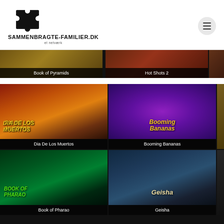[Figure (logo): Sammenbragte-familier.dk puzzle piece logo with site name and tagline 'et netværk']
[Figure (screenshot): Grid of casino/slot game thumbnails. Top partial row shows 'Book of Pyramids' and 'Hot Shots 2'. Main grid shows: Dia De Los Muertos, Booming Bananas, Az (partial), Book of Pharao, Geisha, and a partial third column game.]